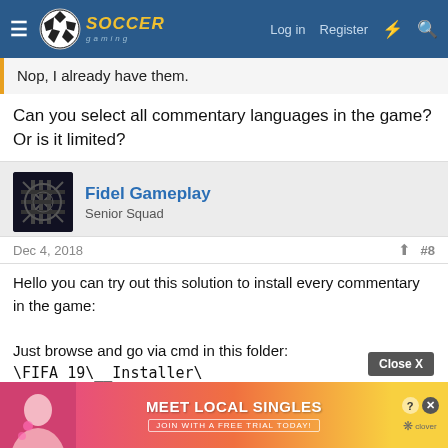Soccer Gaming — Log in | Register
Nop, I already have them.
Can you select all commentary languages in the game? Or is it limited?
Fidel Gameplay
Senior Squad
Dec 4, 2018   #8
Hello you can try out this solution to install every commentary in the game:

Just browse and go via cmd in this folder:
\FIFA 19\__Installer\

Run this   patch
where is
[Figure (screenshot): Ad banner: Meet Local Singles with Close X button and clover branding]